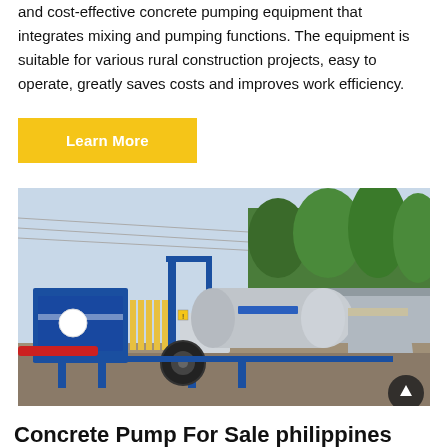and cost-effective concrete pumping equipment that integrates mixing and pumping functions. The equipment is suitable for various rural construction projects, easy to operate, greatly saves costs and improves work efficiency.
Learn More
[Figure (photo): A blue concrete mixer pump machine on a construction site outdoors, with palm trees in the background. The machine has a large cylindrical drum, hydraulic components, and is mounted on a wheeled trailer frame.]
Concrete Pump For Sale philippines